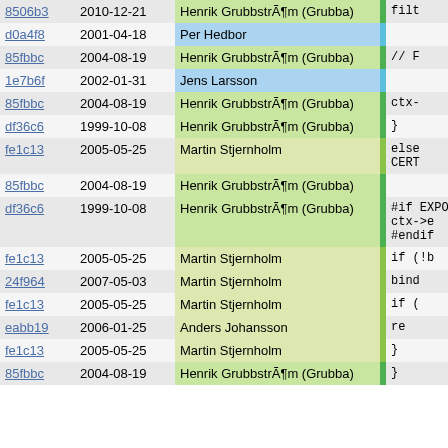| hash | date | author |  | code |
| --- | --- | --- | --- | --- |
| 8506b3 | 2010-12-21 | Henrik GrubbstrÃ¶m (Grubba) |  | filt |
| d0a4f8 | 2001-04-18 | Per Hedbor |  |  |
| 85fbbc | 2004-08-19 | Henrik GrubbstrÃ¶m (Grubba) |  | // F |
| 1e7b6f | 2002-01-31 | Jens Larsson |  |  |
| 85fbbc | 2004-08-19 | Henrik GrubbstrÃ¶m (Grubba) |  | ctx- |
| df36c6 | 1999-10-08 | Henrik GrubbstrÃ¶m (Grubba) |  | } |
| fe1c13 | 2005-05-25 | Martin Stjernholm |  | else
CERT |
| 85fbbc | 2004-08-19 | Henrik GrubbstrÃ¶m (Grubba) |  |  |
| df36c6 | 1999-10-08 | Henrik GrubbstrÃ¶m (Grubba) |  | #if EXPORT
ctx->e
#endif |
| fe1c13 | 2005-05-25 | Martin Stjernholm |  | if (!b |
| 24f964 | 2007-05-03 | Martin Stjernholm |  | bind |
| fe1c13 | 2005-05-25 | Martin Stjernholm |  | if ( |
| eabb19 | 2006-01-25 | Anders Johansson |  | re |
| fe1c13 | 2005-05-25 | Martin Stjernholm |  | } |
| 85fbbc | 2004-08-19 | Henrik GrubbstrÃ¶m (Grubba) |  | } |